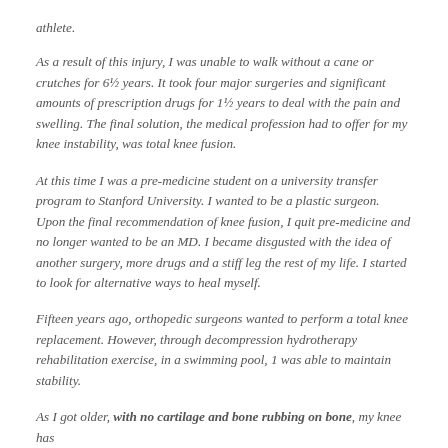athlete.
As a result of this injury, I was unable to walk without a cane or crutches for 6½ years. It took four major surgeries and significant amounts of prescription drugs for 1½ years to deal with the pain and swelling. The final solution, the medical profession had to offer for my knee instability, was total knee fusion.
At this time I was a pre-medicine student on a university transfer program to Stanford University. I wanted to be a plastic surgeon. Upon the final recommendation of knee fusion, I quit pre-medicine and no longer wanted to be an MD. I became disgusted with the idea of another surgery, more drugs and a stiff leg the rest of my life. I started to look for alternative ways to heal myself.
Fifteen years ago, orthopedic surgeons wanted to perform a total knee replacement. However, through decompression hydrotherapy rehabilitation exercise, in a swimming pool, 1 was able to maintain stability.
As I got older, with no cartilage and bone rubbing on bone, my knee has